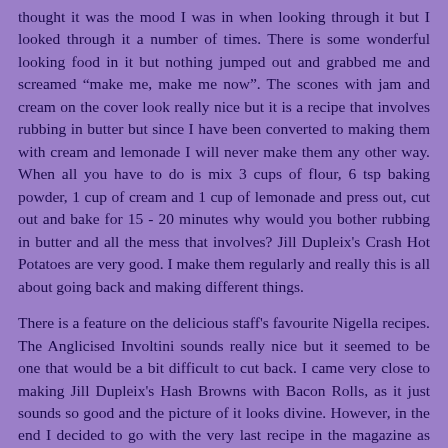thought it was the mood I was in when looking through it but I looked through it a number of times. There is some wonderful looking food in it but nothing jumped out and grabbed me and screamed "make me, make me now". The scones with jam and cream on the cover look really nice but it is a recipe that involves rubbing in butter but since I have been converted to making them with cream and lemonade I will never make them any other way. When all you have to do is mix 3 cups of flour, 6 tsp baking powder, 1 cup of cream and 1 cup of lemonade and press out, cut out and bake for 15 - 20 minutes why would you bother rubbing in butter and all the mess that involves? Jill Dupleix's Crash Hot Potatoes are very good. I make them regularly and really this is all about going back and making different things.
There is a feature on the delicious staff's favourite Nigella recipes. The Anglicised Involtini sounds really nice but it seemed to be one that would be a bit difficult to cut back. I came very close to making Jill Dupleix's Hash Browns with Bacon Rolls, as it just sounds so good and the picture of it looks divine. However, in the end I decided to go with the very last recipe in the magazine as recipe by Ian Parmenter. Aussies might remember Ian Parmenter from that wonderful little show on the ABC called Consuming